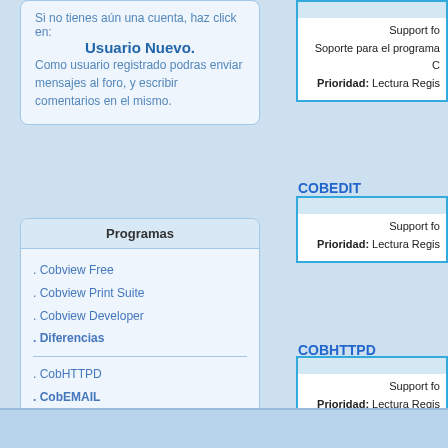Si no tienes aún una cuenta, haz click en: Usuario Nuevo.
Como usuario registrado podras enviar mensajes al foro, y escribir comentarios en el mismo.
Programas
. Cobview Free
. Cobview Print Suite
. Cobview Developer
. Diferencias
. CobHTTPD
. CobEMAIL
. CobWebServer
. CobEdit
Support fo... Soporte para el programa C... Prioridad: Lectura Regis...
COBEDIT
Support fo... Prioridad: Lectura Regis...
COBHTTPD
Support fo... Prioridad: Lectura Regis...